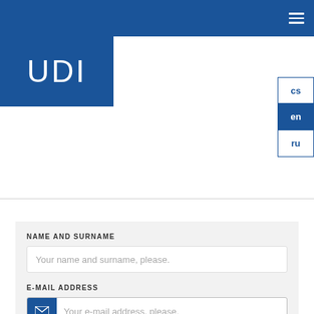UDI
[Figure (logo): UDI logo — white sans-serif text on blue background]
cs en ru (language selector)
NAME AND SURNAME
Your name and surname, please.
E-MAIL ADDRESS
Your e-mail address, please.